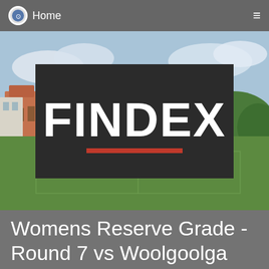Home
[Figure (photo): Outdoor sports ground with green grass pitch, buildings and trees in background. In the center is the Findex logo (white bold text on dark background with red underline) overlaid on the image.]
Womens Reserve Grade - Round 7 vs Woolgoolga Wildcats
This week saw the Women's Reserve team make the trip up the highway to play at Woolgoolga. The girls have this...